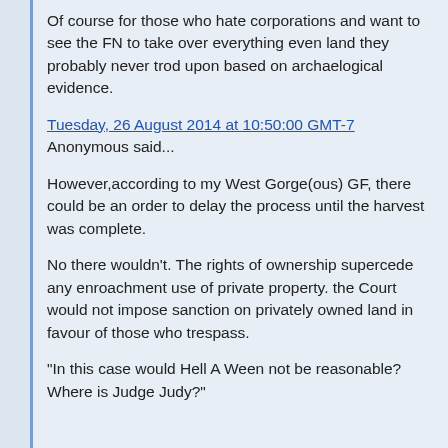Of course for those who hate corporations and want to see the FN to take over everything even land they probably never trod upon based on archaelogical evidence.
Tuesday, 26 August 2014 at 10:50:00 GMT-7
Anonymous said...
However,according to my West Gorge(ous) GF, there could be an order to delay the process until the harvest was complete.
No there wouldn't. The rights of ownership supercede any enroachment use of private property. the Court would not impose sanction on privately owned land in favour of those who trespass.
"In this case would Hell A Ween not be reasonable? Where is Judge Judy?"